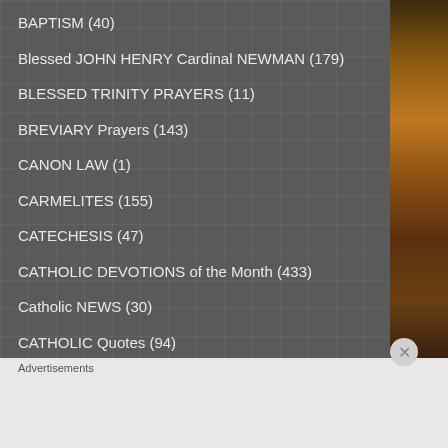BAPTISM (40)
Blessed JOHN HENRY Cardinal NEWMAN (179)
BLESSED TRINITY PRAYERS (11)
BREVIARY Prayers (143)
CANON LAW (1)
CARMELITES (155)
CATECHESIS (47)
CATHOLIC DEVOTIONS of the Month (433)
Catholic NEWS (30)
CATHOLIC Quotes (94)
CATHOLIC TIME (18)
Advertisements
[Figure (other): Bloomingdales advertisement banner: logo text 'bloomingdales', tagline 'View Today's Top Deals!', image of woman with wide-brim hat, 'SHOP NOW >' button]